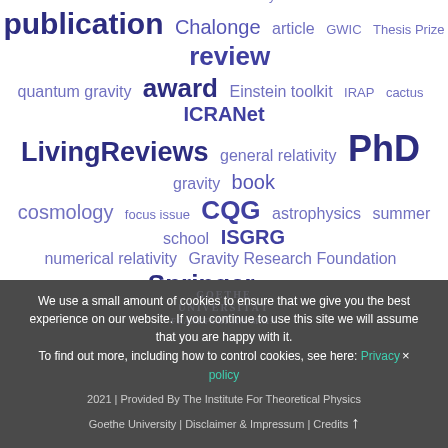[Figure (infographic): Word cloud related to gravitational physics research topics. Words in varying sizes and shades of dark blue/purple representing frequency/importance. Largest words: postdoc, publication, PhD, faculty. Other words include: carpet, Capra, GRG, gravitational waves, obituary, Chalonge, article, GWIC, Thesis Prize, review, quantum gravity, award, Einstein toolkit, IRAP, cactus, ICRANet, LivingReviews, general relativity, gravity, book, cosmology, focus issue, CQG, astrophysics, summer school, ISGRG, numerical relativity, Gravity Research Foundation, Springer, essay, gravitation, black holes.]
We use a small amount of cookies to ensure that we give you the best experience on our website. If you continue to use this site we will assume that you are happy with it. To find out more, including how to control cookies, see here: Privacy policy
2021 | Provided By The Institute For Theoretical Physics Goethe University | Disclaimer & Impressum | Credits